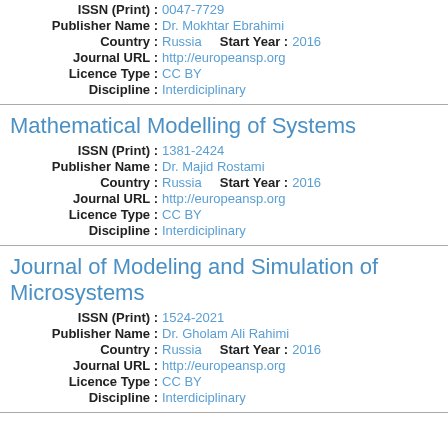ISSN (Print) : 0047-7729
Publisher Name : Dr. Mokhtar Ebrahimi
Country : Russia   Start Year : 2016
Journal URL : http://europeansp.org
Licence Type : CC BY
Discipline : Interdiciplinary
Mathematical Modelling of Systems
ISSN (Print) : 1381-2424
Publisher Name : Dr. Majid Rostami
Country : Russia   Start Year : 2016
Journal URL : http://europeansp.org
Licence Type : CC BY
Discipline : Interdiciplinary
Journal of Modeling and Simulation of Microsystems
ISSN (Print) : 1524-2021
Publisher Name : Dr. Gholam Ali Rahimi
Country : Russia   Start Year : 2016
Journal URL : http://europeansp.org
Licence Type : CC BY
Discipline : Interdiciplinary